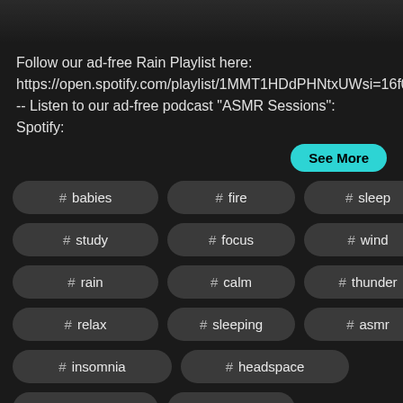[Figure (photo): Top portion of a dark background image, partially cropped]
Follow our ad-free Rain Playlist here: https://open.spotify.com/playlist/1MMT1HDdPHNtxUWsi=16f05b6327c74056--- Listen to our ad-free podcast "ASMR Sessions": Spotify:
See More
# babies
# fire
# sleep
# study
# focus
# wind
# rain
# calm
# thunder
# relax
# sleeping
# asmr
# insomnia
# headspace
# calming
# campfires